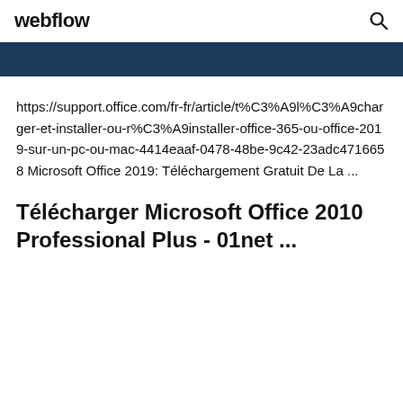webflow
https://support.office.com/fr-fr/article/t%C3%A9l%C3%A9charger-et-installer-ou-r%C3%A9installer-office-365-ou-office-2019-sur-un-pc-ou-mac-4414eaaf-0478-48be-9c42-23adc4716658 Microsoft Office 2019: Téléchargement Gratuit De La ...
Télécharger Microsoft Office 2010 Professional Plus - 01net ...